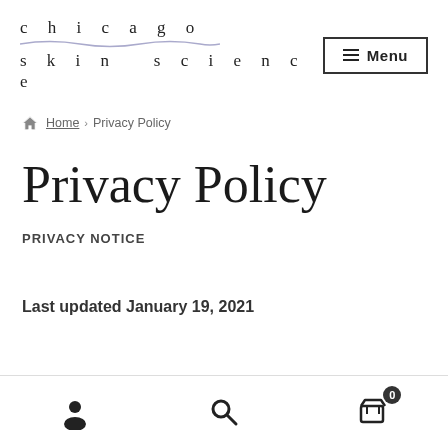chicago skin science — Menu
Home › Privacy Policy
Privacy Policy
PRIVACY NOTICE
Last updated January 19, 2021
User icon | Search icon | Cart (0)